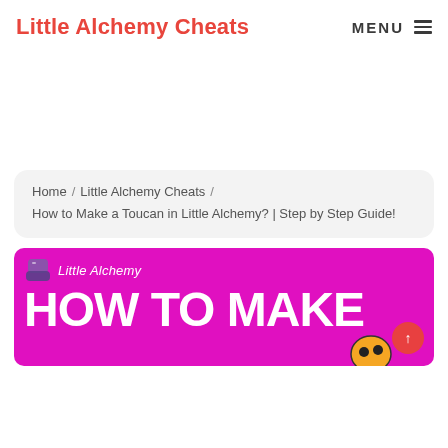Little Alchemy Cheats
MENU
Home / Little Alchemy Cheats / How to Make a Toucan in Little Alchemy? | Step by Step Guide!
[Figure (illustration): Little Alchemy branded banner with magenta/pink background, flask icon, italic 'Little Alchemy' text, bold white 'HOW TO MAKE' heading, ladybug graphic and red scroll-to-top button]